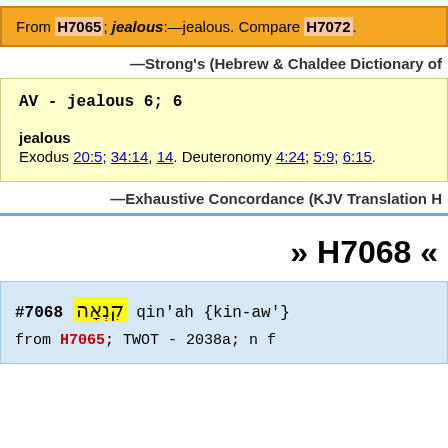From H7065; jealous:—jealous. Compare H7072.
—Strong's (Hebrew & Chaldee Dictionary of
AV - jealous 6; 6
jealous
Exodus 20:5; 34:14, 14. Deuteronomy 4:24; 5:9; 6:15.
—Exhaustive Concordance (KJV Translation H
» H7068 «
#7068 קִנְאָה qin'ah {kin-aw'}
from H7065; TWOT - 2038a; n f